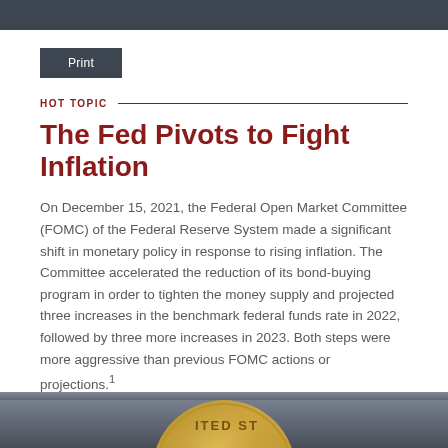Print
HOT TOPIC
The Fed Pivots to Fight Inflation
On December 15, 2021, the Federal Open Market Committee (FOMC) of the Federal Reserve System made a significant shift in monetary policy in response to rising inflation. The Committee accelerated the reduction of its bond-buying program in order to tighten the money supply and projected three increases in the benchmark federal funds rate in 2022, followed by three more increases in 2023. Both steps were more aggressive than previous FOMC actions or projections.1
[Figure (photo): Partial view of a United States coin (appears to show 'ITED ST' text visible on coin edge), photographed against a dark metallic background]